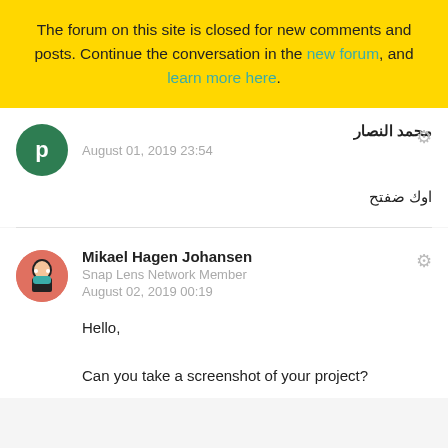The forum on this site is closed for new comments and posts. Continue the conversation in the new forum, and learn more here.
محمد النصار
August 01, 2019 23:54
اوك ضفتح
Mikael Hagen Johansen
Snap Lens Network Member
August 02, 2019 00:19
Hello,

Can you take a screenshot of your project?